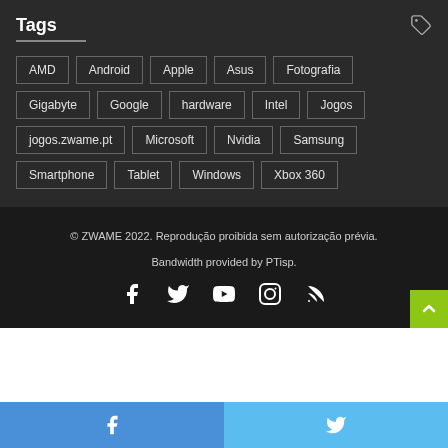Tags
AMD
Android
Apple
Asus
Fotografia
Gigabyte
Google
hardware
Intel
Jogos
jogos.zwame.pt
Microsoft
Nvidia
Samsung
Smartphone
Tablet
Windows
Xbox 360
© ZWAME 2022. Reprodução proibida sem autorização prévia. Bandwidth provided by PTisp.